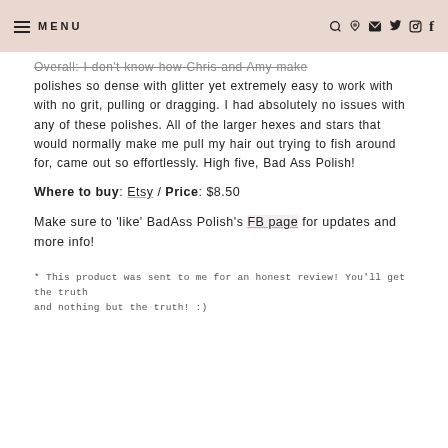≡ MENU  🔍 𝒫 ✉ 𝕏 ⊙ f
Overall: I don't know how Chris and Amy make polishes so dense with glitter yet extremely easy to work with with no grit, pulling or dragging. I had absolutely no issues with any of these polishes. All of the larger hexes and stars that would normally make me pull my hair out trying to fish around for, came out so effortlessly. High five, Bad Ass Polish!
Where to buy: Etsy / Price: $8.50
Make sure to 'like' BadAss Polish's FB page for updates and more info!
* This product was sent to me for an honest review! You'll get the truth and nothing but the truth! :)